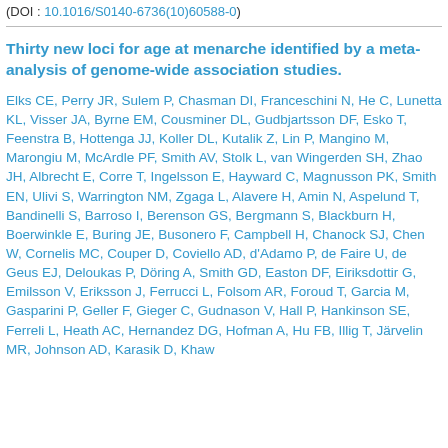(DOI : 10.1016/S0140-6736(10)60588-0)
Thirty new loci for age at menarche identified by a meta-analysis of genome-wide association studies.
Elks CE, Perry JR, Sulem P, Chasman DI, Franceschini N, He C, Lunetta KL, Visser JA, Byrne EM, Cousminer DL, Gudbjartsson DF, Esko T, Feenstra B, Hottenga JJ, Koller DL, Kutalik Z, Lin P, Mangino M, Marongiu M, McArdle PF, Smith AV, Stolk L, van Wingerden SH, Zhao JH, Albrecht E, Corre T, Ingelsson E, Hayward C, Magnusson PK, Smith EN, Ulivi S, Warrington NM, Zgaga L, Alavere H, Amin N, Aspelund T, Bandinelli S, Barroso I, Berenson GS, Bergmann S, Blackburn H, Boerwinkle E, Buring JE, Busonero F, Campbell H, Chanock SJ, Chen W, Cornelis MC, Couper D, Coviello AD, d'Adamo P, de Faire U, de Geus EJ, Deloukas P, Döring A, Smith GD, Easton DF, Eiriksdottir G, Emilsson V, Eriksson J, Ferrucci L, Folsom AR, Foroud T, Garcia M, Gasparini P, Geller F, Gieger C, Gudnason V, Hall P, Hankinson SE, Ferreli L, Heath AC, Hernandez DG, Hofman A, Hu FB, Illig T, Järvelin MR, Johnson AD, Karasik D, Khaw